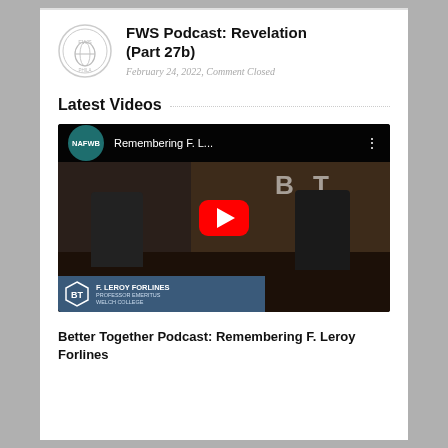FWS Podcast: Revelation (Part 27b)
February 24, 2022, Comment Closed
Latest Videos
[Figure (screenshot): YouTube video thumbnail showing two men in discussion, NAFWB logo, title 'Remembering F. L...', YouTube play button, and lower-third caption 'F. Leroy Forlines, Professor Emeritus, Welch College' with BT hexagon logo]
Better Together Podcast: Remembering F. Leroy Forlines